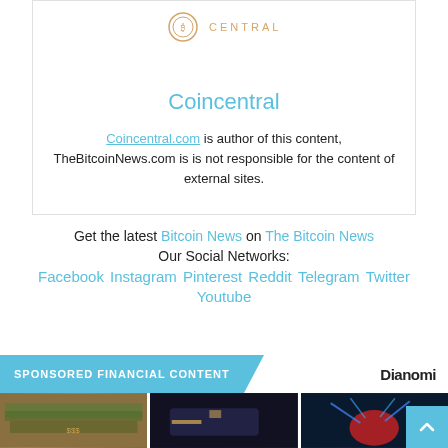[Figure (logo): Coincentral logo — circular orange coin icon with 'CENTRAL' text in orange caps]
Coincentral
Coincentral.com is author of this content, TheBitcoinNews.com is is not responsible for the content of external sites.
Get the latest Bitcoin News on The Bitcoin News
Our Social Networks:
Facebook Instagram Pinterest Reddit Telegram Twitter
Youtube
SPONSORED FINANCIAL CONTENT
[Figure (photo): Stack of US dollar bills]
[Figure (photo): Gold hand holding a black credit card on dark background]
[Figure (photo): Red brain with blue glowing arcs on dark background]